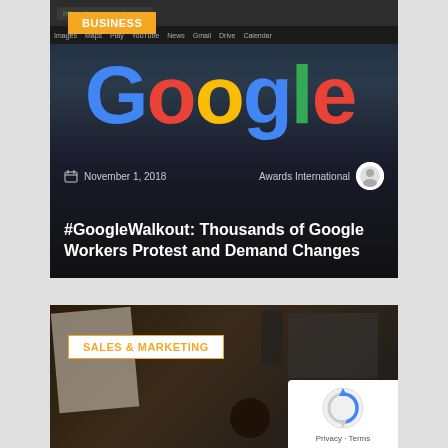[Figure (photo): Google homepage screenshot showing the Google logo with colorful letters on a dark browser background, with browser navigation bar visible at top]
BUSINESS
November 1, 2018
Awards International
#GoogleWalkout: Thousands of Google Workers Protest and Demand Changes
[Figure (photo): Dark overhead shot of a desk with notebooks, a coffee cup, a smartphone, and a laptop keyboard]
SALES & MARKETING